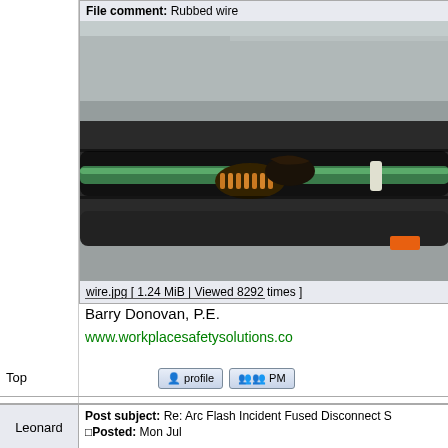File comment: Rubbed wire
[Figure (photo): Close-up photograph of a damaged/rubbed wire showing exposed copper coils, green wire insulation with a cable tie, black cables, against a metallic gray background with an orange component visible.]
wire.jpg [ 1.24 MiB | Viewed 8292 times ]
Barry Donovan, P.E.
www.workplacesafetysolutions.com
Top
Post subject: Re: Arc Flash Incident Fused Disconnect S
Posted: Mon Jul
Leonard